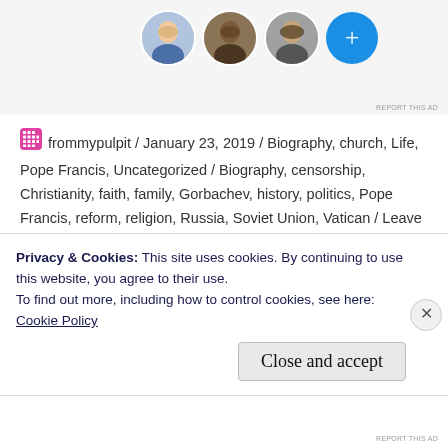[Figure (screenshot): Top portion of a webpage with circular avatar images (three people) and a blue plus button, on a light grey ad banner background. 'REPORT THIS AD' text in bottom right.]
frommypulpit / January 23, 2019 / Biography, church, Life, Pope Francis, Uncategorized / Biography, censorship, Christianity, faith, family, Gorbachev, history, politics, Pope Francis, reform, religion, Russia, Soviet Union, Vatican / Leave a comment
Another difficult week for the
Privacy & Cookies: This site uses cookies. By continuing to use this website, you agree to their use.
To find out more, including how to control cookies, see here: Cookie Policy
Close and accept